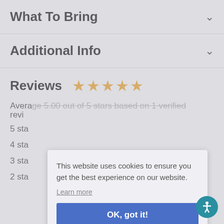What To Bring
Additional Info
Reviews
Average 5.00 out of 5 stars based on 1 verified revi...
5 sta...
4 sta...
3 sta...
2 sta...
This website uses cookies to ensure you get the best experience on our website.
Learn more
OK, got it!